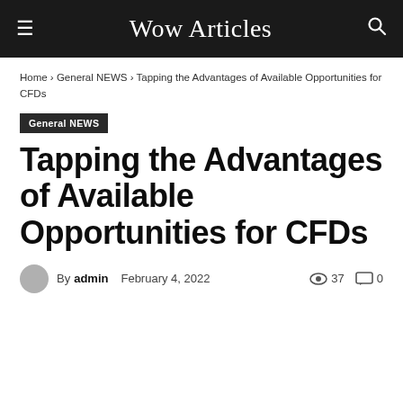Wow Articles
Home › General NEWS › Tapping the Advantages of Available Opportunities for CFDs
General NEWS
Tapping the Advantages of Available Opportunities for CFDs
By admin   February 4, 2022   37   0